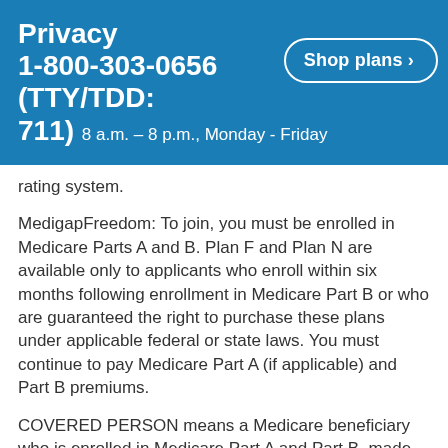Privacy 1-800-303-0656 (TTY/TDD: 711) 8 a.m. – 8 p.m., Monday - Friday  Shop plans >
rating system.
MedigapFreedom: To join, you must be enrolled in Medicare Parts A and B. Plan F and Plan N are available only to applicants who enroll within six months following enrollment in Medicare Part B or who are guaranteed the right to purchase these plans under applicable federal or state laws. You must continue to pay Medicare Part A (if applicable) and Part B premiums.
COVERED PERSON means a Medicare beneficiary who is enrolled in Medicare Part A and Part B, made the appropriate payment in consideration for this Policy, and is eligible for benefits under this Policy.
Non-tobacco rates apply to applications submitted during the six-month open enrollment or in a guaranteed issue situation. Applicants NOT enrolling during the six-month open enrollment period or in a